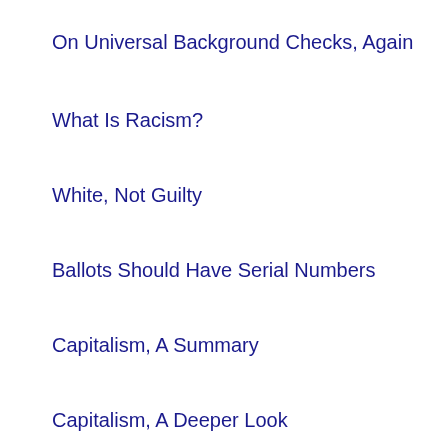On Universal Background Checks, Again
What Is Racism?
White, Not Guilty
Ballots Should Have Serial Numbers
Capitalism, A Summary
Capitalism, A Deeper Look
Capitalism and Karl Marx
Capitalism, The Critics
What is Capitalism?
Systemic Racism
Slavery